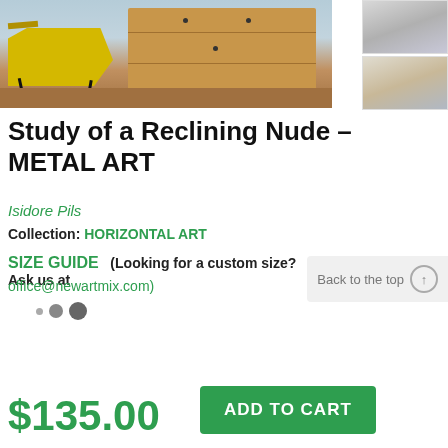[Figure (photo): Product photo showing a mid-century modern wooden dresser with a yellow reclining chair beside it, on a wood floor with a light blue wall background. Thumbnail images visible on the right side.]
Study of a Reclining Nude – METAL ART
Isidore Pils
Collection: HORIZONTAL ART
SIZE GUIDE   (Looking for a custom size? Ask us at office@newartmix.com)
$135.00
ADD TO CART